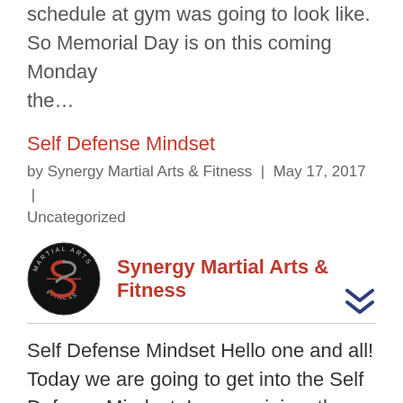schedule at gym was going to look like. So Memorial Day is on this coming Monday the...
Self Defense Mindset
by Synergy Martial Arts & Fitness | May 17, 2017 | Uncategorized
[Figure (logo): Synergy Martial Arts & Fitness logo: circular black badge with stylized S and text around the edge, beside bold red text 'Synergy Martial Arts & Fitness' with a dark blue double chevron below]
Self Defense Mindset Hello one and all! Today we are going to get into the Self Defense Mindset. In our opinion, the Self Defense Mindset is the single most important part of any self defense training. You can learn hundred and hundred of techniques, but when